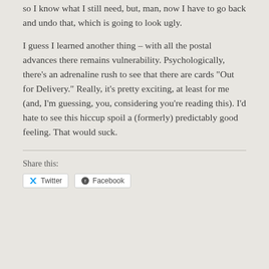so I know what I still need, but, man, now I have to go back and undo that, which is going to look ugly.
I guess I learned another thing – with all the postal advances there remains vulnerability. Psychologically, there's an adrenaline rush to see that there are cards “Out for Delivery.” Really, it’s pretty exciting, at least for me (and, I’m guessing, you, considering you’re reading this). I’d hate to see this hiccup spoil a (formerly) predictably good feeling. That would suck.
Share this: